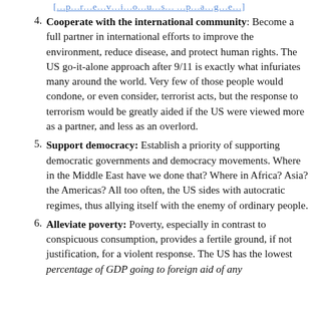[continued from previous page]
Cooperate with the international community: Become a full partner in international efforts to improve the environment, reduce disease, and protect human rights. The US go-it-alone approach after 9/11 is exactly what infuriates many around the world. Very few of those people would condone, or even consider, terrorist acts, but the response to terrorism would be greatly aided if the US were viewed more as a partner, and less as an overlord.
Support democracy: Establish a priority of supporting democratic governments and democracy movements. Where in the Middle East have we done that? Where in Africa? Asia? the Americas? All too often, the US sides with autocratic regimes, thus allying itself with the enemy of ordinary people.
Alleviate poverty: Poverty, especially in contrast to conspicuous consumption, provides a fertile ground, if not justification, for a violent response. The US has the lowest percentage of GDP going to foreign aid of any...